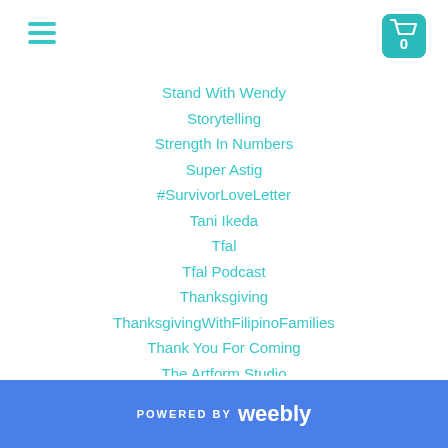navigation header with hamburger menu and cart icon
Stand With Wendy
Storytelling
Strength In Numbers
Super Astig
#SurvivorLoveLetter
Tani Ikeda
Tfal
Tfal Podcast
Thanksgiving
ThanksgivingWithFilipinoFamilies
Thank You For Coming
The Artform Studio
The Comedy Comedy Festival
The Cotabato Sessions
The Music Center
The Park's Finest
The Saysay Project
The Society Of Corned Beef Crossed Keys
POWERED BY weebly